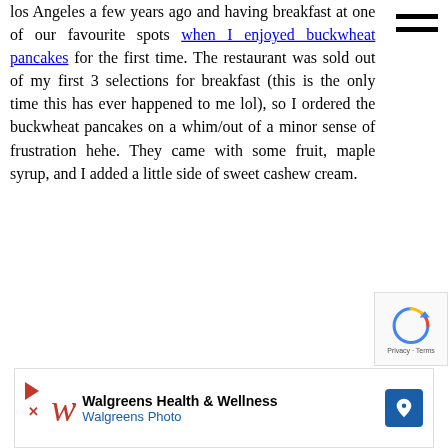los Angeles a few years ago and having breakfast at one of our favourite spots when I enjoyed buckwheat pancakes for the first time. The restaurant was sold out of my first 3 selections for breakfast (this is the only time this has ever happened to me lol), so I ordered the buckwheat pancakes on a whim/out of a minor sense of frustration hehe. They came with some fruit, maple syrup, and I added a little side of sweet cashew cream.
[Figure (other): Hamburger menu icon (three horizontal bars)]
[Figure (other): reCAPTCHA widget with Privacy and Terms text]
[Figure (other): Walgreens Health & Wellness / Walgreens Photo advertisement banner]